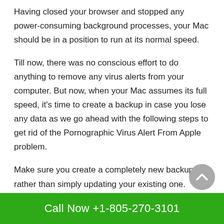Having closed your browser and stopped any power-consuming background processes, your Mac should be in a position to run at its normal speed.
Till now, there was no conscious effort to do anything to remove any virus alerts from your computer. But now, when your Mac assumes its full speed, it's time to create a backup in case you lose any data as we go ahead with the following steps to get rid of the Pornographic Virus Alert From Apple problem.
Make sure you create a completely new backup, rather than simply updating your existing one.
Step 4. Update All Your Mac Apps along with your macOS
Call Now +1-805-270-3101